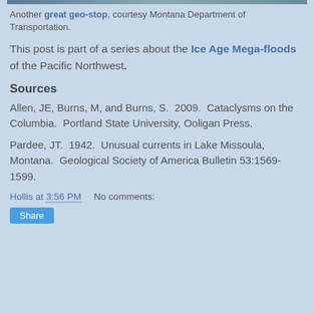[Figure (photo): Partial image strip at top of page]
Another great geo-stop, courtesy Montana Department of Transportation.
This post is part of a series about the Ice Age Mega-floods of the Pacific Northwest.
Sources
Allen, JE, Burns, M, and Burns, S.  2009.  Cataclysms on the Columbia.  Portland State University, Ooligan Press.
Pardee, JT.  1942.  Unusual currents in Lake Missoula, Montana.  Geological Society of America Bulletin 53:1569-1599.
Hollis at 3:56 PM    No comments: